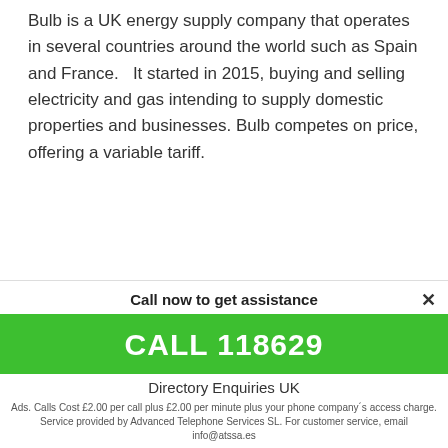Bulb is a UK energy supply company that operates in several countries around the world such as Spain and France.   It started in 2015, buying and selling electricity and gas intending to supply domestic properties and businesses. Bulb competes on price, offering a variable tariff.
Call now to get assistance
CALL 118629
Directory Enquiries UK
Ads. Calls Cost £2.00 per call plus £2.00 per minute plus your phone company´s access charge. Service provided by Advanced Telephone Services SL. For customer service, email info@atssa.es